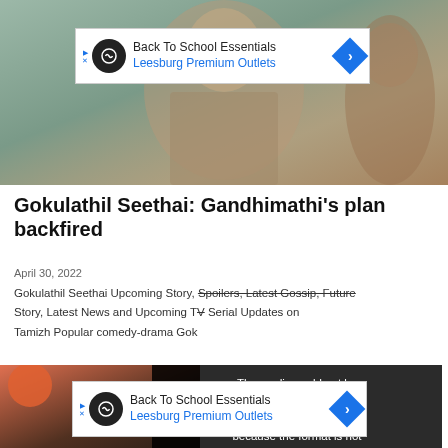[Figure (photo): Blurred photo of a man with beard wearing a checkered shirt, with another person visible in the background. An advertisement banner for Back To School Essentials - Leesburg Premium Outlets overlaid on top.]
Gokulathil Seethai: Gandhimathi's plan backfired
April 30, 2022
Gokulathil Seethai Upcoming Story, Spoilers, Latest Gossip, Future Story, Latest News and Upcoming TV Serial Updates on Tamizh Popular comedy-drama Gok
[Figure (photo): Partial blurred photo visible behind media error overlay and advertisement banner. Media error message reads: The media could not be loaded, either because the server or network failed or because the format is not supported.]